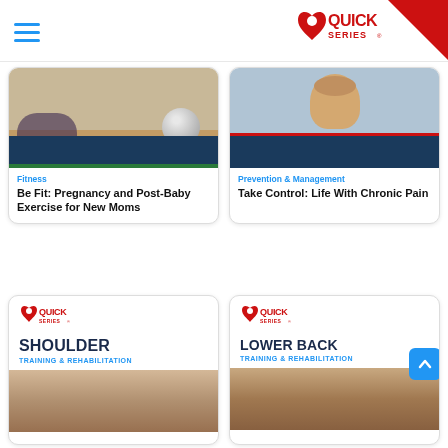[Figure (logo): Quick Series logo in header with red triangle corner decoration]
[Figure (photo): Card: woman exercising with fitness ball on floor. Category: Fitness. Title: Be Fit: Pregnancy and Post-Baby Exercise for New Moms]
Fitness
Be Fit: Pregnancy and Post-Baby Exercise for New Moms
[Figure (photo): Card: older man with chronic pain, resting head on hand. Category: Prevention & Management. Title: Take Control: Life With Chronic Pain]
Prevention & Management
Take Control: Life With Chronic Pain
[Figure (illustration): Quick Series branded card: Shoulder Training & Rehabilitation]
SHOULDER
TRAINING & REHABILITATION
[Figure (illustration): Quick Series branded card: Lower Back Training & Rehabilitation]
LOWER BACK
TRAINING & REHABILITATION